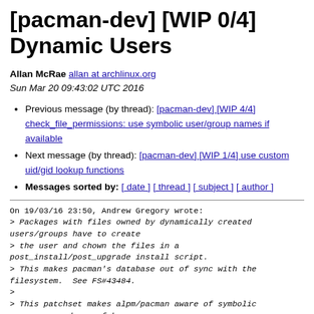[pacman-dev] [WIP 0/4] Dynamic Users
Allan McRae allan at archlinux.org
Sun Mar 20 09:43:02 UTC 2016
Previous message (by thread): [pacman-dev] [WIP 4/4] check_file_permissions: use symbolic user/group names if available
Next message (by thread): [pacman-dev] [WIP 1/4] use custom uid/gid lookup functions
Messages sorted by: [ date ] [ thread ] [ subject ] [ author ]
On 19/03/16 23:50, Andrew Gregory wrote:
> Packages with files owned by dynamically created users/groups have to create
> the user and chown the files in a post_install/post_upgrade install script.
> This makes pacman's database out of sync with the filesystem.  See FS#43484.
>
> This patchset makes alpm/pacman aware of symbolic usernames and uses fakeuser
> this with it to...